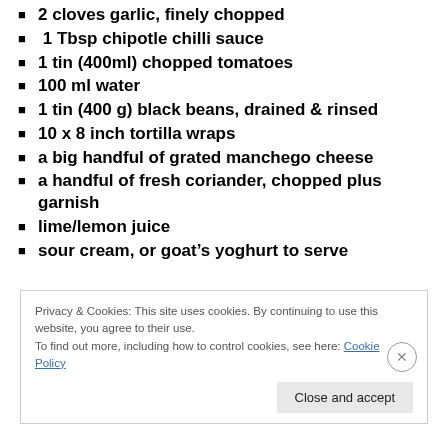2 cloves garlic, finely chopped
1 Tbsp chipotle chilli sauce
1 tin (400ml) chopped tomatoes
100 ml water
1 tin (400 g) black beans, drained & rinsed
10 x 8 inch tortilla wraps
a big handful of grated manchego cheese
a handful of fresh coriander, chopped plus garnish
lime/lemon juice
sour cream, or goat’s yoghurt to serve
Privacy & Cookies: This site uses cookies. By continuing to use this website, you agree to their use.
To find out more, including how to control cookies, see here: Cookie Policy